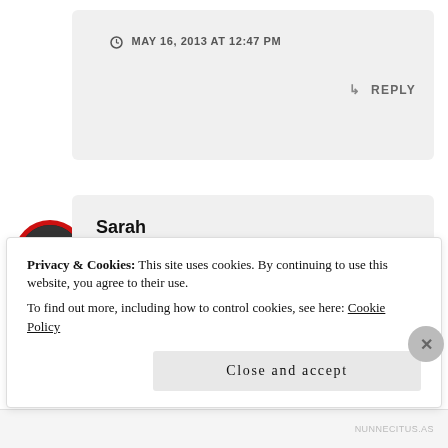MAY 16, 2013 AT 12:47 PM
↳ REPLY
Sarah
Thanks Margot, and for the RT. I did find this book absorbing.
Privacy & Cookies: This site uses cookies. By continuing to use this website, you agree to their use.
To find out more, including how to control cookies, see here: Cookie Policy
Close and accept
NUNNECITUS.AS